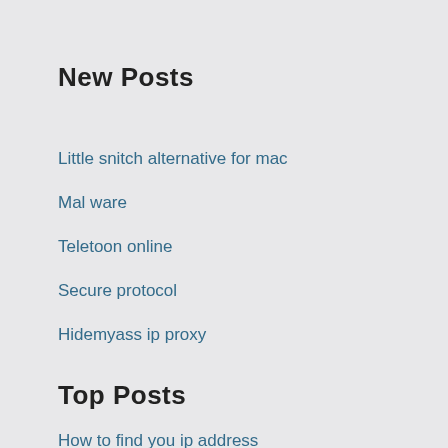New Posts
Little snitch alternative for mac
Mal ware
Teletoon online
Secure protocol
Hidemyass ip proxy
Top Posts
How to find you ip address
Itv shows apply